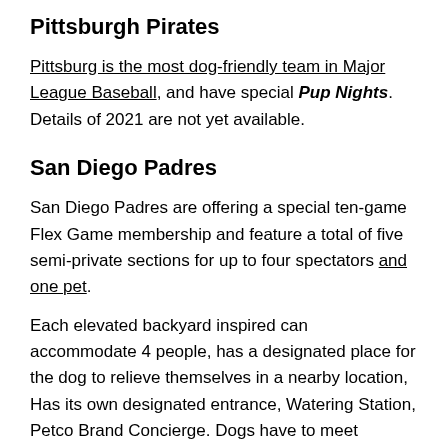Pittsburgh Pirates
Pittsburg is the most dog-friendly team in Major League Baseball, and have special Pup Nights. Details of 2021 are not yet available.
San Diego Padres
San Diego Padres are offering a special ten-game Flex Game membership and feature a total of five semi-private sections for up to four spectators and one pet.
Each elevated backyard inspired can accommodate 4 people, has a designated place for the dog to relieve themselves in a nearby location, Has its own designated entrance, Watering Station, Petco Brand Concierge. Dogs have to meet conditions and be vaccinated.